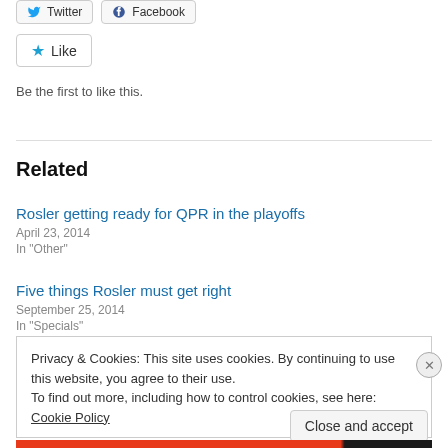[Figure (screenshot): Twitter and Facebook share buttons at the top]
[Figure (screenshot): Like button with star icon]
Be the first to like this.
Related
Rosler getting ready for QPR in the playoffs
April 23, 2014
In "Other"
Five things Rosler must get right
September 25, 2014
In "Specials"
Privacy & Cookies: This site uses cookies. By continuing to use this website, you agree to their use.
To find out more, including how to control cookies, see here: Cookie Policy
Close and accept